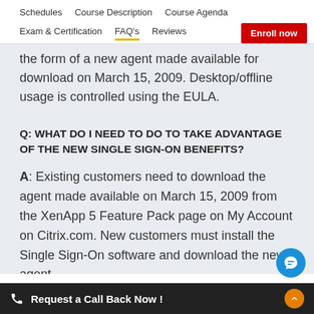Schedules   Course Description   Course Agenda   Exam & Certification   FAQ's   Reviews   Enroll now
the form of a new agent made available for download on March 15, 2009. Desktop/offline usage is controlled using the EULA.
Q: WHAT DO I NEED TO DO TO TAKE ADVANTAGE OF THE NEW SINGLE SIGN-ON BENEFITS?
A: Existing customers need to download the agent made available on March 15, 2009 from the XenApp 5 Feature Pack page on My Account on Citrix.com. New customers must install the Single Sign-On software and download the new agent.
Request a Call Back Now !